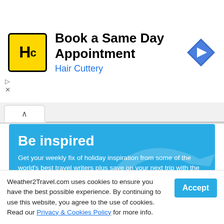[Figure (screenshot): Hair Cuttery ad banner with yellow HC logo, text 'Book a Same Day Appointment' and 'Hair Cuttery' in blue, and a blue navigation arrow icon on the right]
Be inspired
Get your weekly fix of holiday inspiration from some of the world's best travel writers plus save on your next trip with the latest exclusive offers
Email address
Sign up
We promise not to share your details.
Weather2Travel.com uses cookies to ensure you have the best possible experience. By continuing to use this website, you agree to the use of cookies. Read our Privacy & Cookies Policy for more info.